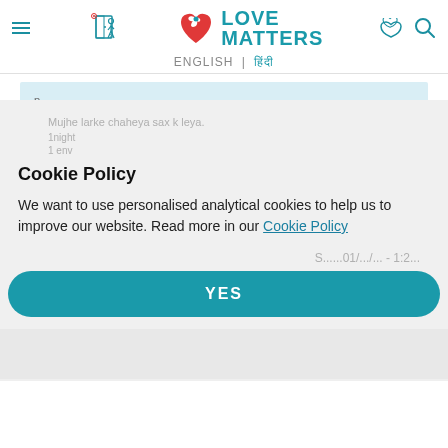Love Matters — ENGLISH | हिंदी
SHAHID   Sat, 01/02/2021 - 17:21
Mujhe larke chaheya sax k leya.
1night
1 env
Cookie Policy
We want to use personalised analytical cookies to help us to improve our website. Read more in our Cookie Policy
YES